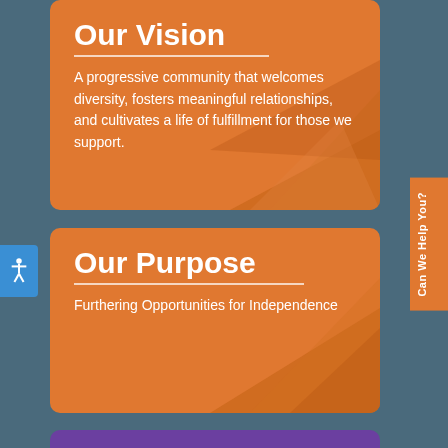Our Vision
A progressive community that welcomes diversity, fosters meaningful relationships, and cultivates a life of fulfillment for those we support.
Our Purpose
Furthering Opportunities for Independence
PARTNERS